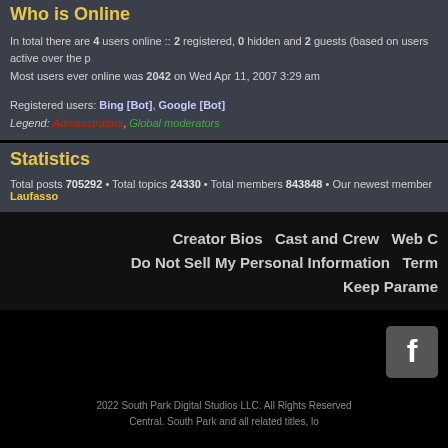Who is Online
In total there are 4 users online :: 2 registered, 0 hidden and 2 guests (based on users active over the past 5 minutes)
Most users ever online was 2042 on Wed Apr 11, 2007 3:29 am
Registered users: Bing [Bot], Google [Bot]
Legend: Administrators, Global moderators
Statistics
Total posts 705292 • Total topics 24330 • Total members 843848 • Our newest member Laufasso
Creator Bios   Cast and Crew   Web C...
Do Not Sell My Personal Information   Term...
Keep Parame...
2022 South Park Digital Studios LLC. All Rights Reserved... Central. South Park and all related titles, lo...